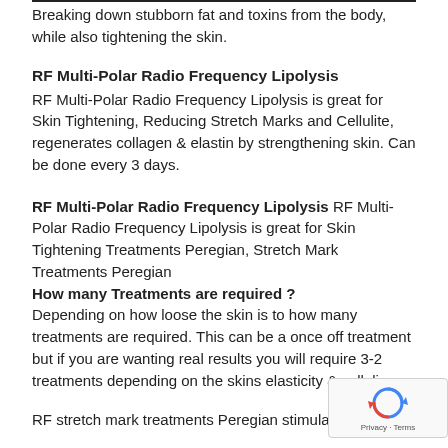Breaking down stubborn fat and toxins from the body, while also tightening the skin.
RF Multi-Polar Radio Frequency Lipolysis
RF Multi-Polar Radio Frequency Lipolysis is great for Skin Tightening, Reducing Stretch Marks and Cellulite, regenerates collagen & elastin by strengthening skin. Can be done every 3 days.
RF Multi-Polar Radio Frequency Lipolysis RF Multi-Polar Radio Frequency Lipolysis is great for Skin Tightening Treatments Peregian, Stretch Mark Treatments Peregian How many Treatments are required? Depending on how loose the skin is to how many treatments are required. This can be a once off treatment but if you are wanting real results you will require 3-2 treatments depending on the skins elasticity & celluli
RF stretch mark treatments Peregian stimulates the skin's